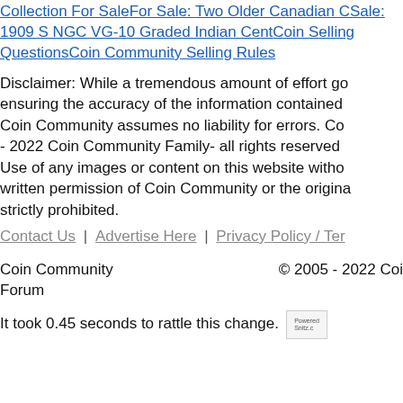Collection For SaleFor Sale: Two Older Canadian C... Sale: 1909 S NGC VG-10 Graded Indian CentCoin Selling QuestionsCoin Community Selling Rules
Disclaimer: While a tremendous amount of effort go... ensuring the accuracy of the information contained... Coin Community assumes no liability for errors. Co... - 2022 Coin Community Family- all rights reserved... Use of any images or content on this website witho... written permission of Coin Community or the origina... strictly prohibited.
Contact Us | Advertise Here | Privacy Policy / Ter...
Coin Community Forum
© 2005 - 2022 Coi...
It took 0.45 seconds to rattle this change.